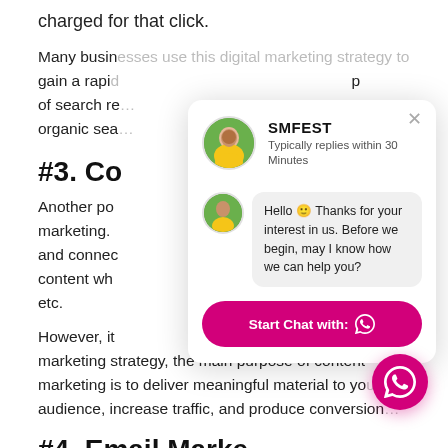charged for that click.
Many businesses use this digital marketing strategy to gain a rapid … of search re… organic sea…
#3. Co…
Another po… marketing. … and connec… content wh… etc.
However, it … marketing strategy, the main purpose of content marketing is to deliver meaningful material to you audience, increase traffic, and produce conversion…
#4. Email Marke…
[Figure (screenshot): Chat popup from SMFEST showing avatar, title 'SMFEST', subtitle 'Typically replies within 30 Minutes', a chat bubble saying 'Hello 🙂 Thanks for your interest in us. Before we begin, may I know how we can help you?', and a pink 'Start Chat with: WhatsApp icon' button. A pink WhatsApp FAB is in the bottom-right corner.]